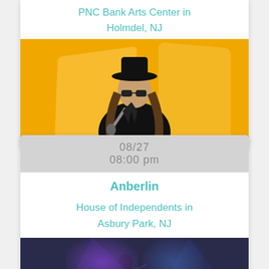PNC Bank Arts Center in Holmdel, NJ
[Figure (photo): Concert performer with black hat and sunglasses singing into microphone against yellow/orange background]
08/27
08:00 pm
Anberlin
House of Independents in Asbury Park, NJ
[Figure (photo): Concert performer on stage with purple and blue stage lighting in dark venue]